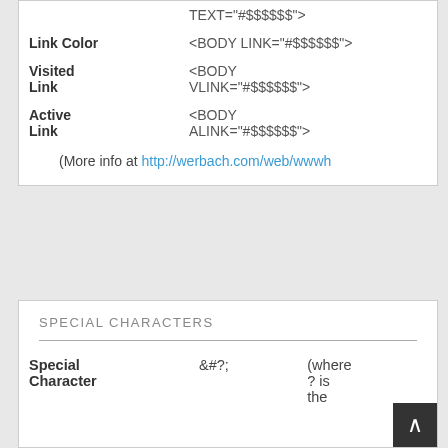| Attribute | Code |
| --- | --- |
| Text Color | <BODY TEXT="#$$$$$$"> |
| Link Color | <BODY LINK="#$$$$$$"> |
| Visited Link | <BODY VLINK="#$$$$$$"> |
| Active Link | <BODY ALINK="#$$$$$$"> |
(More info at http://werbach.com/web/wwwh
SPECIAL CHARACTERS
| Special Character | &#?; | (where ? is the |
| --- | --- | --- |